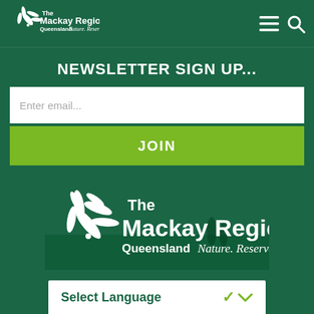[Figure (logo): The Mackay Region Queensland Nature. Reserved. logo - small version in header]
[Figure (logo): Hamburger menu icon and search icon in header]
NEWSLETTER SIGN UP...
Enter email...
JOIN
[Figure (logo): Large The Mackay Region Queensland Nature. Reserved. logo - white version on dark green background with beach silhouette]
Select Language